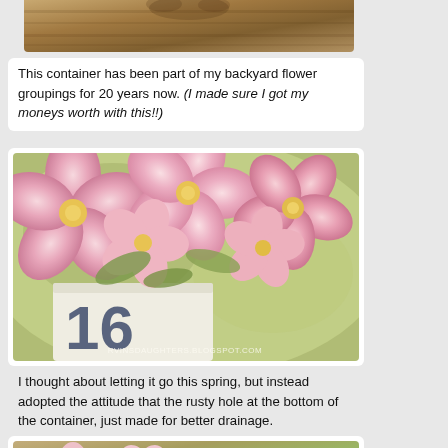[Figure (photo): Cropped top of a photo showing a rustic container/pot, partially visible at the top of the page]
This container has been part of my backyard flower groupings for 20 years now. (I made sure I got my moneys worth with this!!)
[Figure (photo): Close-up photo of pink petunia flowers overflowing from a white numbered container with the number 16 visible, in a vintage/retro photographic style. Watermark reads RVINSDAUGHTERS.BLOGSPOT.COM]
I thought about letting it go this spring, but instead adopted the attitude that the rusty hole at the bottom of the container, just made for better drainage.
[Figure (photo): Photo of pink petunias in a container, partially visible at the bottom of the page, with a decorative daisy/sunflower ornament visible on the right side]